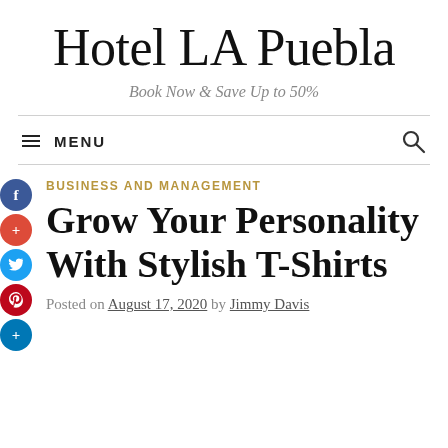Hotel LA Puebla
Book Now & Save Up to 50%
≡ MENU
BUSINESS AND MANAGEMENT
Grow Your Personality With Stylish T-Shirts
Posted on August 17, 2020 by Jimmy Davis